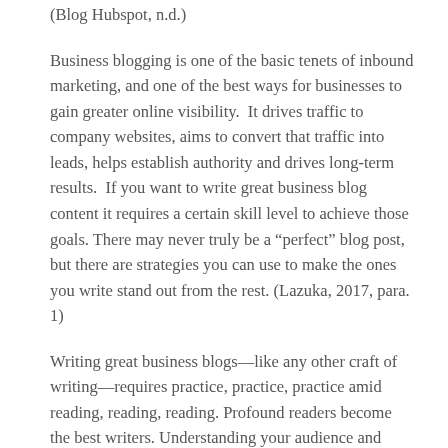(Blog Hubspot, n.d.)
Business blogging is one of the basic tenets of inbound marketing, and one of the best ways for businesses to gain greater online visibility.  It drives traffic to company websites, aims to convert that traffic into leads, helps establish authority and drives long-term results.  If you want to write great business blog content it requires a certain skill level to achieve those goals. There may never truly be a "perfect" blog post, but there are strategies you can use to make the ones you write stand out from the rest. (Lazuka, 2017, para. 1)
Writing great business blogs—like any other craft of writing—requires practice, practice, practice amid reading, reading, reading. Profound readers become the best writers. Understanding your audience and your topic